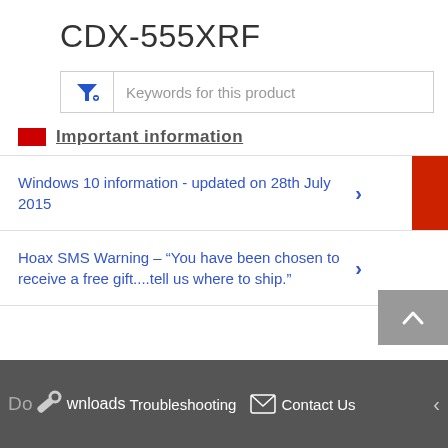CDX-555XRF
Keywords for this product
Important information
Windows 10 information - updated on 28th July 2015
Hoax SMS Warning – “You have been chosen to receive a free gift....tell us where to ship.”
Downloads  Troubleshooting  Contact Us